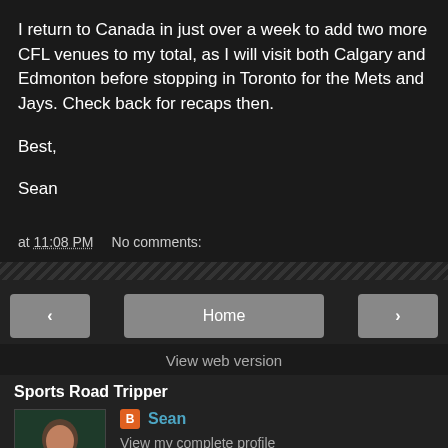I return to Canada in just over a week to add two more CFL venues to my total, as I will visit both Calgary and Edmonton before stopping in Toronto for the Mets and Jays. Check back for recaps then.

Best,

Sean
at 11:08 PM   No comments:
Home
View web version
Sports Road Tripper
[Figure (photo): Profile photo of Sean, a man with a beard wearing a dark green shirt with 'CLUB 121' text]
Sean
View my complete profile